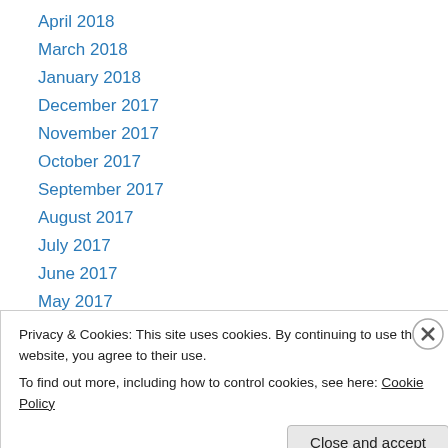April 2018
March 2018
January 2018
December 2017
November 2017
October 2017
September 2017
August 2017
July 2017
June 2017
May 2017
April 2017
March 2017
Privacy & Cookies: This site uses cookies. By continuing to use this website, you agree to their use.
To find out more, including how to control cookies, see here: Cookie Policy
REPORTS